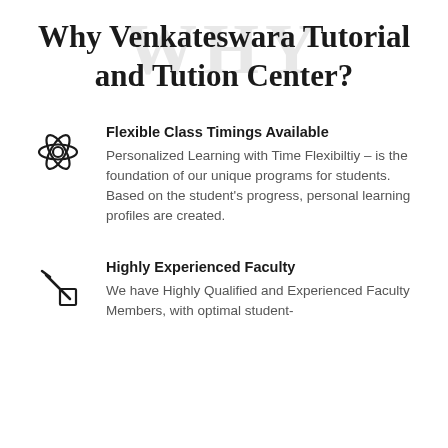Why Venkateswara Tutorial and Tution Center?
Flexible Class Timings Available
Personalized Learning with Time Flexibiltiy – is the foundation of our unique programs for students. Based on the student's progress, personal learning profiles are created.
Highly Experienced Faculty
We have Highly Qualified and Experienced Faculty Members, with optimal student-